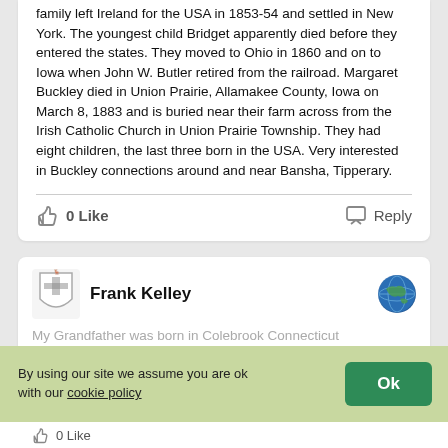family left Ireland for the USA in 1853-54 and settled in New York. The youngest child Bridget apparently died before they entered the states. They moved to Ohio in 1860 and on to Iowa when John W. Butler retired from the railroad. Margaret Buckley died in Union Prairie, Allamakee County, Iowa on March 8, 1883 and is buried near their farm across from the Irish Catholic Church in Union Prairie Township. They had eight children, the last three born in the USA. Very interested in Buckley connections around and near Bansha, Tipperary.
0 Like
Reply
Frank Kelley
My Grandfather was born in Colebrook Connecticut
By using our site we assume you are ok with our cookie policy
Ok
0 Like